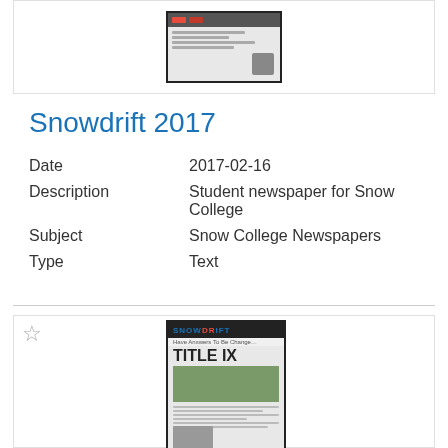[Figure (screenshot): Thumbnail of a newspaper page with dark header bars and small figure]
Snowdrift 2017
| Field | Value |
| --- | --- |
| Date | 2017-02-16 |
| Description | Student newspaper for Snow College |
| Subject | Snow College Newspapers |
| Type | Text |
[Figure (screenshot): Thumbnail of Snowdrift newspaper front page featuring TITLE IX headline with green field photo and portrait]